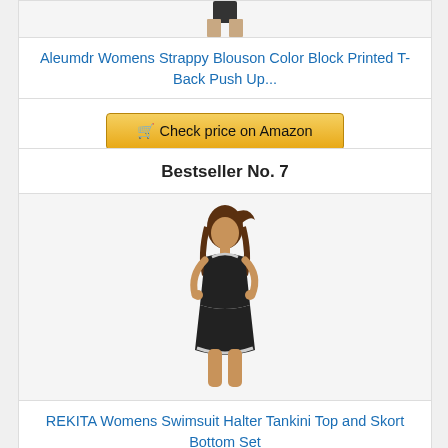[Figure (photo): Partial product photo of woman wearing swimwear (cropped at top)]
Aleumdr Womens Strappy Blouson Color Block Printed T-Back Push Up...
Check price on Amazon
Bestseller No. 7
[Figure (photo): Woman wearing black halter tankini top with white trim and matching skort]
REKITA Womens Swimsuit Halter Tankini Top and Skort Bottom Set